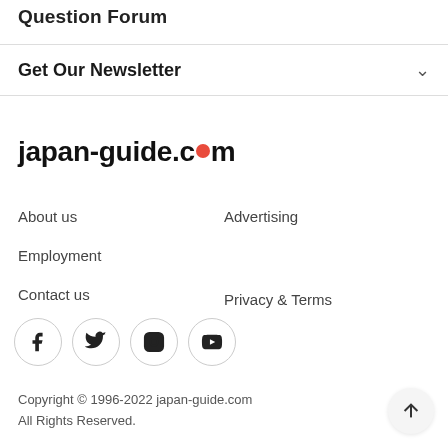Question Forum
Get Our Newsletter
[Figure (logo): japan-guide.com logo with red dot replacing the 'o' in 'com']
About us
Advertising
Employment
Contact us
Privacy & Terms
[Figure (infographic): Social media icons: Facebook, Twitter, Instagram, YouTube — each in a circular outlined button]
Copyright © 1996-2022 japan-guide.com
All Rights Reserved.